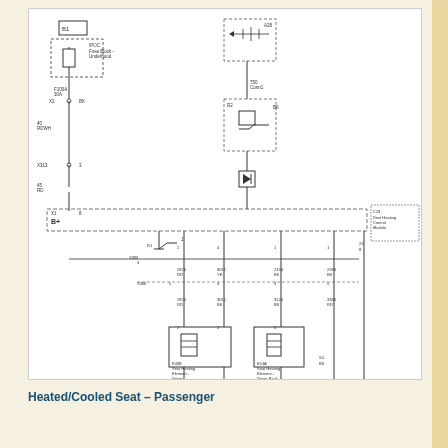[Figure (schematic): Heated/Cooled Seat - Passenger wiring diagram showing fuse block, relay, seat heating control module, seat heating elements for driver cushion and driver back, with wire connections labeled with wire colors and numbers (RD, YE, BK, etc.)]
Heated/Cooled Seat – Passenger